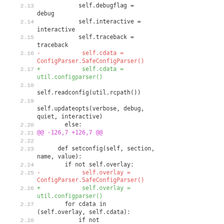[Figure (screenshot): Code diff showing Python source lines 2.13-2.29, with red (removed) and green (added) diff lines. Lines show changes replacing ConfigParser.SafeConfigParser() with util.configparser(), and other method calls.]